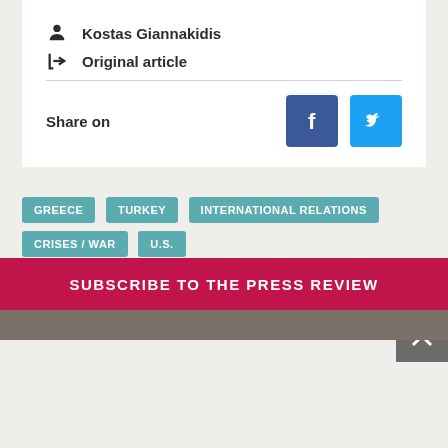Kostas Giannakidis
Original article
Share on
[Figure (logo): Facebook share button - blue square with white 'f' icon]
[Figure (logo): Twitter share button - light blue square with white bird icon]
GREECE
TURKEY
INTERNATIONAL RELATIONS
CRISES / WAR
U.S.
MORE CURRENT DEBATES
SUBSCRIBE TO THE PRESS REVIEW